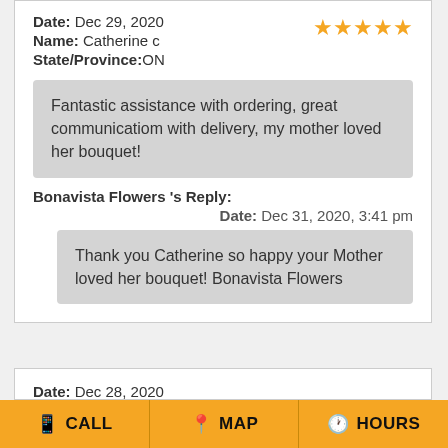Date: Dec 29, 2020
Name: Catherine c
State/Province:ON
[Figure (other): 5 orange star rating icons]
Fantastic assistance with ordering, great communicatiom with delivery, my mother loved her bouquet!
Bonavista Flowers 's Reply:
Date: Dec 31, 2020, 3:41 pm
Thank you Catherine so happy your Mother loved her bouquet! Bonavista Flowers
Date: Dec 28, 2020
CALL
MAP
HOURS